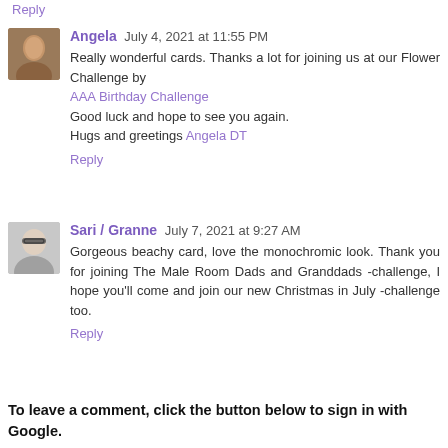Reply
Angela  July 4, 2021 at 11:55 PM
Really wonderful cards. Thanks a lot for joining us at our Flower Challenge by
AAA Birthday Challenge
Good luck and hope to see you again.
Hugs and greetings Angela DT
Reply
Sari / Granne  July 7, 2021 at 9:27 AM
Gorgeous beachy card, love the monochromic look. Thank you for joining The Male Room Dads and Granddads -challenge, I hope you'll come and join our new Christmas in July -challenge too.
Reply
To leave a comment, click the button below to sign in with Google.